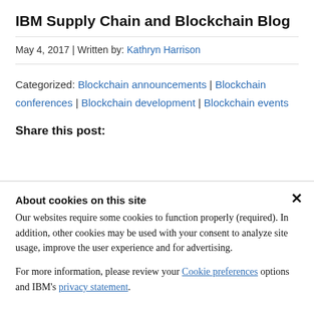IBM Supply Chain and Blockchain Blog
May 4, 2017 | Written by: Kathryn Harrison
Categorized: Blockchain announcements | Blockchain conferences | Blockchain development | Blockchain events
Share this post:
About cookies on this site
Our websites require some cookies to function properly (required). In addition, other cookies may be used with your consent to analyze site usage, improve the user experience and for advertising.
For more information, please review your Cookie preferences options and IBM's privacy statement.
Required only
Accept all